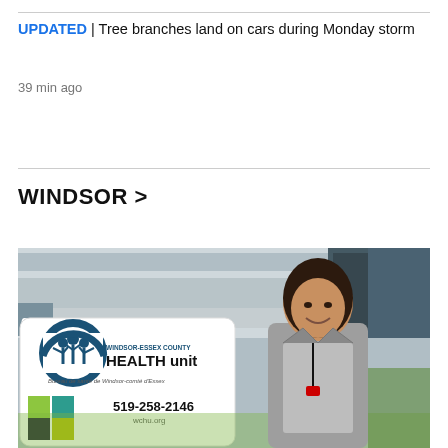UPDATED | Tree branches land on cars during Monday storm
39 min ago
WINDSOR >
[Figure (photo): A woman smiling while standing next to a Windsor-Essex County Health Unit sign outside a building. The sign shows the Health Unit logo, text 'WINDSOR-ESSEX COUNTY HEALTH unit', 'Bureau de santé de Windsor-comté d'Essex', and phone number 519-258-2146.]